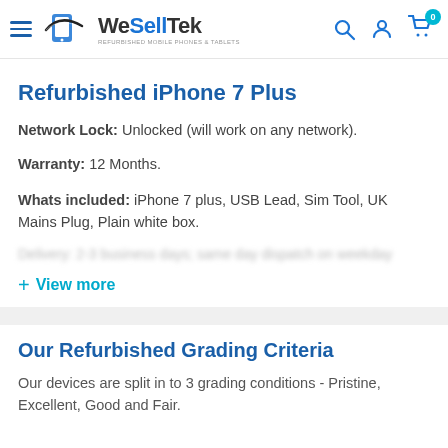WeSellTek - Refurbished Mobile Phones & Tablets
Refurbished iPhone 7 Plus
Network Lock: Unlocked (will work on any network).
Warranty: 12 Months.
Whats included: iPhone 7 plus, USB Lead, Sim Tool, UK Mains Plug, Plain white box.
Delivery: (blurred/redacted text)
+ View more
Our Refurbished Grading Criteria
Our devices are split in to 3 grading conditions - Pristine, Excellent, Good and Fair.